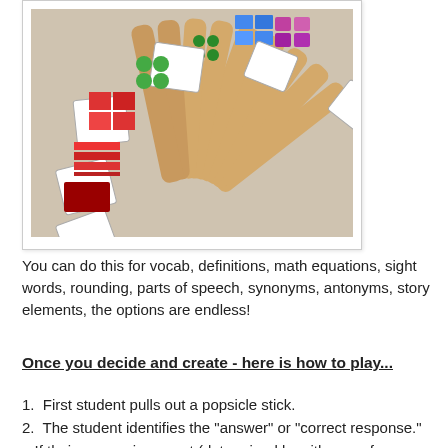[Figure (photo): A fan of popsicle sticks arranged in a semicircle, with colorful cards (showing shapes in blue, green, red, and purple) attached to the ends of the sticks, on a light beige background.]
You can do this for vocab, definitions, math equations, sight words, rounding, parts of speech, synonyms, antonyms, story elements, the options are endless!
Once you decide and create - here is how to play...
1.  First student pulls out a popsicle stick.
2.  The student identifies the "answer" or "correct response."
If their answer is correct (determined by either a reference